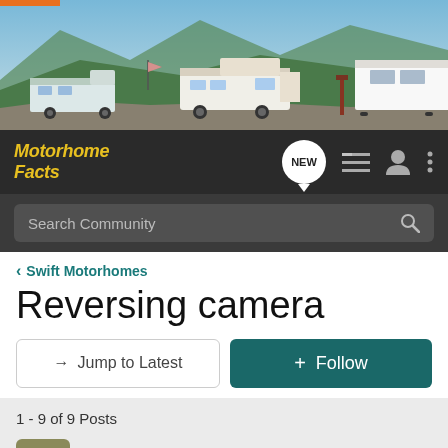[Figure (photo): Hero banner photo of motorhomes/RVs parked in a scenic mountainous lakeside setting with green hills and blue sky]
Motorhome Facts — navigation bar with logo, NEW button, list icon, user icon, menu icon
Search Community
< Swift Motorhomes
Reversing camera
→ Jump to Latest
+ Follow
1 - 9 of 9 Posts
Nickynoo · Registered
Joined May 18, 2007 · 119 Posts